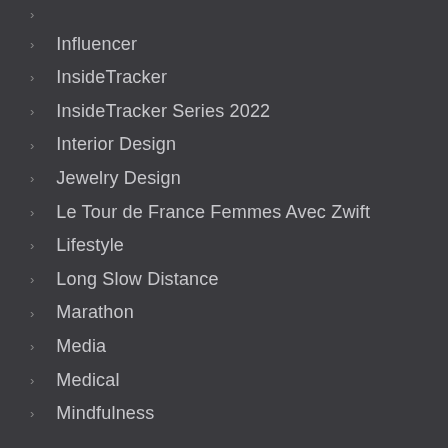Influencer
InsideTracker
InsideTracker Series 2022
Interior Design
Jewelry Design
Le Tour de France Femmes Avec Zwift
Lifestyle
Long Slow Distance
Marathon
Media
Medical
Mindfulness